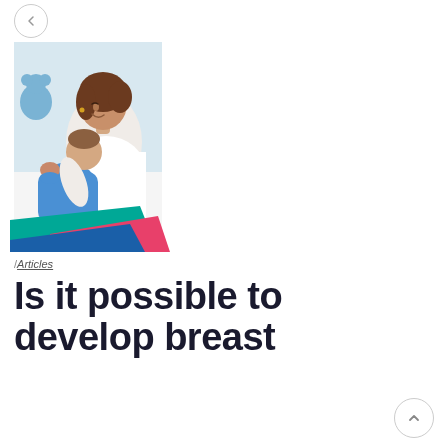[Figure (photo): A mother with brown hair smiling and breastfeeding her baby dressed in a blue outfit, with a light blue background and a blue teddy bear visible. Colorful teal and pink chevron/stripe decoration at the bottom of the photo.]
/ Articles
Is it possible to develop breast